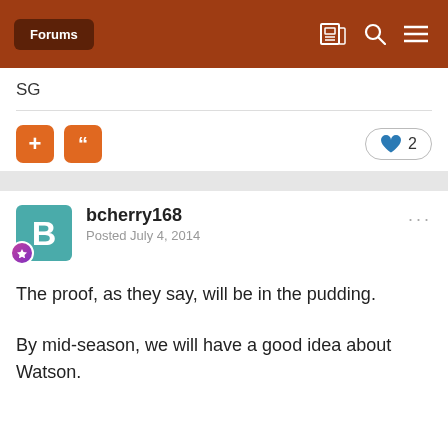Forums
SG
bcherry168
Posted July 4, 2014
The proof, as they say, will be in the pudding.
By mid-season, we will have a good idea about Watson.